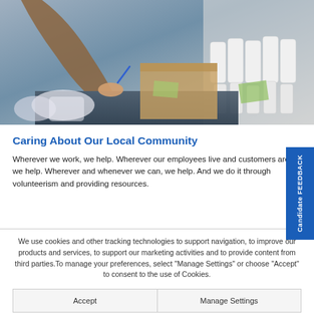[Figure (photo): Person packing boxes at a warehouse table, with white bottles and supplies visible]
Caring About Our Local Community
Wherever we work, we help. Wherever our employees live and customers are, we help. Wherever and whenever we can, we help. And we do it through volunteerism and providing resources.
We use cookies and other tracking technologies to support navigation, to improve our products and services, to support our marketing activities and to provide content from third parties.To manage your preferences, select "Manage Settings" or choose "Accept" to consent to the use of Cookies.
Accept | Manage Settings